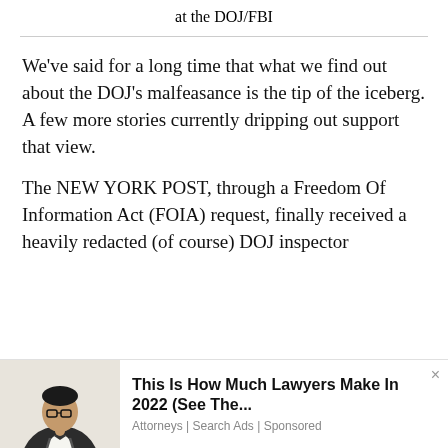at the DOJ/FBI
We've said for a long time that what we find out about the DOJ's malfeasance is the tip of the iceberg.  A few more stories currently dripping out support that view.
The NEW YORK POST, through a Freedom Of Information Act (FOIA) request, finally received a heavily redacted (of course) DOJ inspector
[Figure (photo): Man in suit adjusting bow tie, used in advertisement]
This Is How Much Lawyers Make In 2022 (See The... Attorneys | Search Ads | Sponsored